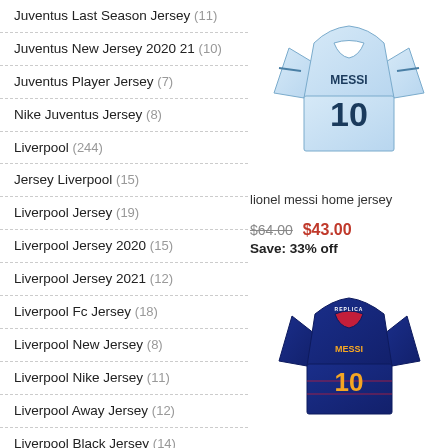Juventus Last Season Jersey (11)
Juventus New Jersey 2020 21 (10)
Juventus Player Jersey (7)
Nike Juventus Jersey (8)
Liverpool (244)
Jersey Liverpool (15)
Liverpool Jersey (19)
Liverpool Jersey 2020 (15)
Liverpool Jersey 2021 (12)
Liverpool Fc Jersey (18)
Liverpool New Jersey (8)
Liverpool Nike Jersey (11)
Liverpool Away Jersey (12)
Liverpool Black Jersey (14)
Liverpool Jersey Kids (23)
Liverpool Jersey Australia (16)
[Figure (photo): Lionel Messi home jersey - light blue/white Argentina style jersey with number 10 and MESSI printed on it]
lionel messi home jersey
$64.00  $43.00  Save: 33% off
[Figure (photo): Second jersey product photo - dark blue FC Barcelona style Messi jersey with number 10, partially visible at bottom]